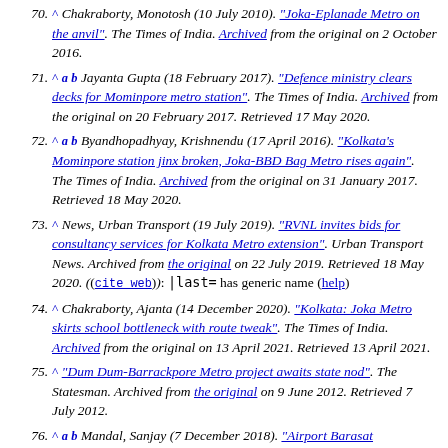70. ^ Chakraborty, Monotosh (10 July 2010). "Joka-Eplanade Metro on the anvil". The Times of India. Archived from the original on 2 October 2016.
71. ^ a b Jayanta Gupta (18 February 2017). "Defence ministry clears decks for Mominpore metro station". The Times of India. Archived from the original on 20 February 2017. Retrieved 17 May 2020.
72. ^ a b Byandhopadhyay, Krishnendu (17 April 2016). "Kolkata's Mominpore station jinx broken, Joka-BBD Bag Metro rises again". The Times of India. Archived from the original on 31 January 2017. Retrieved 18 May 2020.
73. ^ News, Urban Transport (19 July 2019). "RVNL invites bids for consultancy services for Kolkata Metro extension". Urban Transport News. Archived from the original on 22 July 2019. Retrieved 18 May 2020. ((cite web)): |last= has generic name (help)
74. ^ Chakraborty, Ajanta (14 December 2020). "Kolkata: Joka Metro skirts school bottleneck with route tweak". The Times of India. Archived from the original on 13 April 2021. Retrieved 13 April 2021.
75. ^ "Dum Dum-Barrackpore Metro project awaits state nod". The Statesman. Archived from the original on 9 June 2012. Retrieved 7 July 2012.
76. ^ a b Mandal, Sanjay (7 December 2018). "Airport Barasat ...